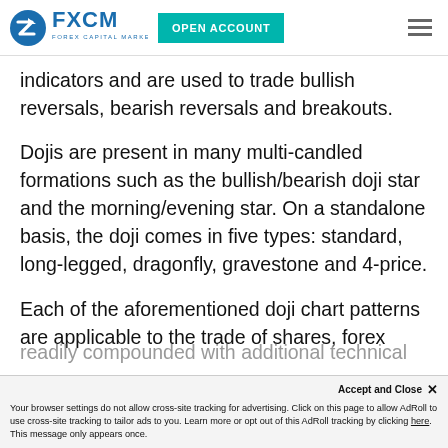FXCM | FOREX CAPITAL MARKETS — OPEN ACCOUNT
indicators and are used to trade bullish reversals, bearish reversals and breakouts.
Dojis are present in many multi-candled formations such as the bullish/bearish doji star and the morning/evening star. On a standalone basis, the doji comes in five types: standard, long-legged, dragonfly, gravestone and 4-price.
Each of the aforementioned doji chart patterns are applicable to the trade of shares, forex
readily compounded with additional technical tools
Accept and Close ✕
Your browser settings do not allow cross-site tracking for advertising. Click on this page to allow AdRoll to use cross-site tracking to tailor ads to you. Learn more or opt out of this AdRoll tracking by clicking here. This message only appears once.